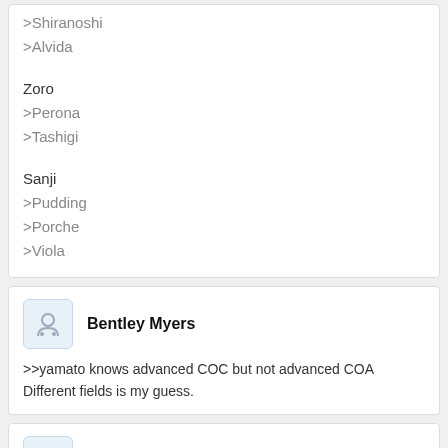>Shiranoshi
>Alvida
Zoro
>Perona
>Tashigi
Sanji
>Pudding
>Porche
>Viola
Bentley Myers
>>yamato knows advanced COC but not advanced COA Different fields is my guess.
Evan Gray
>>who is kaya
>Kaya rejects several handsome and/or rich people and preserved her virginity for Usopp.